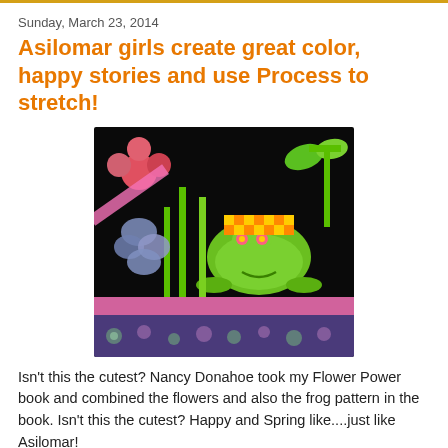Sunday, March 23, 2014
Asilomar girls create great color, happy stories and use Process to stretch!
[Figure (photo): A colorful quilted piece featuring a green frog surrounded by fabric flowers in orange, blue, and pink on a black background, with a floral border at the bottom.]
Isn't this the cutest? Nancy Donahoe took my Flower Power book and combined the flowers and also the frog pattern in the book. Isn't this the cutest? Happy and Spring like....just like Asilomar!
[Figure (photo): Partial view of a tan/brown colored object or surface, cut off at the bottom of the page.]